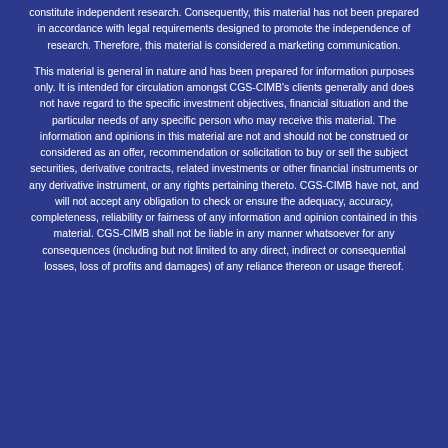constitute independent research. Consequently, this material has not been prepared in accordance with legal requirements designed to promote the independence of research. Therefore, this material is considered a marketing communication. This material is general in nature and has been prepared for information purposes only. It is intended for circulation amongst CGS-CIMB's clients generally and does not have regard to the specific investment objectives, financial situation and the particular needs of any specific person who may receive this material. The information and opinions in this material are not and should not be construed or considered as an offer, recommendation or solicitation to buy or sell the subject securities, derivative contracts, related investments or other financial instruments or any derivative instrument, or any rights pertaining thereto. CGS-CIMB have not, and will not accept any obligation to check or ensure the adequacy, accuracy, completeness, reliability or fairness of any information and opinion contained in this material. CGS-CIMB shall not be liable in any manner whatsoever for any consequences (including but not limited to any direct, indirect or consequential losses, loss of profits and damages) of any reliance thereon or usage thereof.